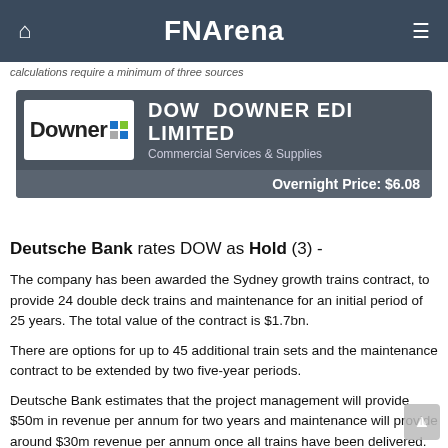FNArena
calculations require a minimum of three sources
[Figure (logo): Downer EDI company card with logo, ticker DOW, sector Commercial Services & Supplies, Overnight Price: $6.08]
Deutsche Bank rates DOW as Hold (3) -
The company has been awarded the Sydney growth trains contract, to provide 24 double deck trains and maintenance for an initial period of 25 years. The total value of the contract is $1.7bn.
There are options for up to 45 additional train sets and the maintenance contract to be extended by two five-year periods.
Deutsche Bank estimates that the project management will provide $50m in revenue per annum for two years and maintenance will provide around $30m revenue per annum once all trains have been delivered.
The broker retains a Hold rating  and raises the target to $5.77 from $5.22.